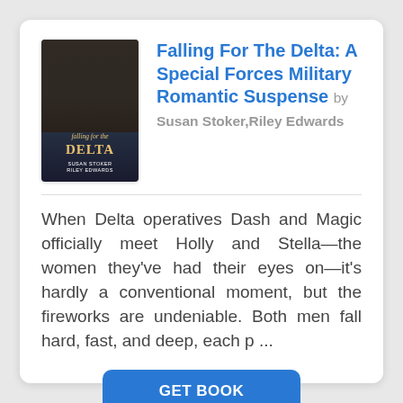[Figure (illustration): Book cover for 'Falling For The Delta' showing a romantic couple silhouette with dark tones, title text in gold, authors Susan Stoker and Riley Edwards listed at bottom]
Falling For The Delta: A Special Forces Military Romantic Suspense by Susan Stoker,Riley Edwards
When Delta operatives Dash and Magic officially meet Holly and Stella—the women they've had their eyes on—it's hardly a conventional moment, but the fireworks are undeniable. Both men fall hard, fast, and deep, each p ...
GET BOOK